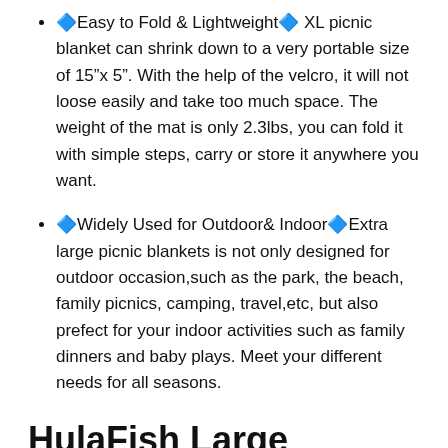🔹Easy to Fold & Lightweight🔹 XL picnic blanket can shrink down to a very portable size of 15"x 5". With the help of the velcro, it will not loose easily and take too much space. The weight of the mat is only 2.3lbs, you can fold it with simple steps, carry or store it anywhere you want.
🔹Widely Used for Outdoor& Indoor🔹Extra large picnic blankets is not only designed for outdoor occasion,such as the park, the beach, family picnics, camping, travel,etc, but also prefect for your indoor activities such as family dinners and baby plays. Meet your different needs for all seasons.
HulaFish Large 79"x79" Waterproof Picnic Blanket – 3 Layered Foldable Outdoor Picnic Mat Perfect for Park and Beach